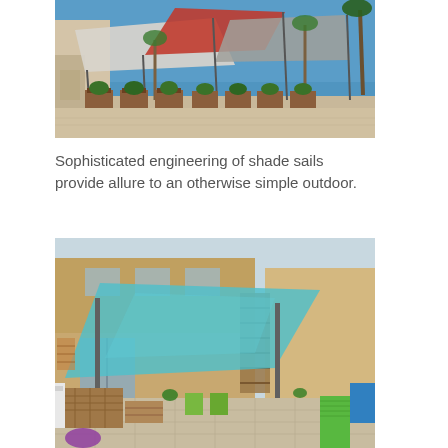[Figure (photo): Outdoor patio area with triangular shade sails in white, red, and gray stretched between metal poles. Wood planters with tropical plants visible in the background under a clear blue sky.]
Sophisticated engineering of shade sails provide allure to an otherwise simple outdoor.
[Figure (photo): Backyard patio with a large turquoise/teal triangular shade sail mounted on metal posts. Pallet furniture, green outdoor chairs, artificial grass strip, and a two-story beige stucco house in background.]